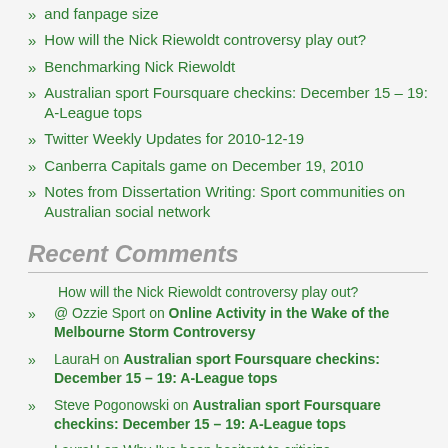and fanpage size
How will the Nick Riewoldt controversy play out?
Benchmarking Nick Riewoldt
Australian sport Foursquare checkins: December 15 – 19: A-League tops
Twitter Weekly Updates for 2010-12-19
Canberra Capitals game on December 19, 2010
Notes from Dissertation Writing: Sport communities on Australian social network
Recent Comments
How will the Nick Riewoldt controversy play out?
@ Ozzie Sport on Online Activity in the Wake of the Melbourne Storm Controversy
LauraH on Australian sport Foursquare checkins: December 15 – 19: A-League tops
Steve Pogonowski on Australian sport Foursquare checkins: December 15 – 19: A-League tops
LauraH on Why I've been hesitant to criticize